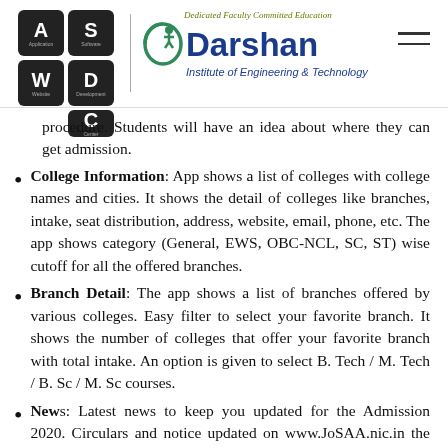ASWDC | Darshan Institute of Engineering & Technology
procedure. Students will have an idea about where they can get admission.
College Information: App shows a list of colleges with college names and cities. It shows the detail of colleges like branches, intake, seat distribution, address, website, email, phone, etc. The app shows category (General, EWS, OBC-NCL, SC, ST) wise cutoff for all the offered branches.
Branch Detail: The app shows a list of branches offered by various colleges. Easy filter to select your favorite branch. It shows the number of colleges that offer your favorite branch with total intake. An option is given to select B. Tech / M. Tech / B. Sc / M. Sc courses.
News: Latest news to keep you updated for the Admission 2020. Circulars and notice updated on www.JoSAA.nic.in the website is updated here in this